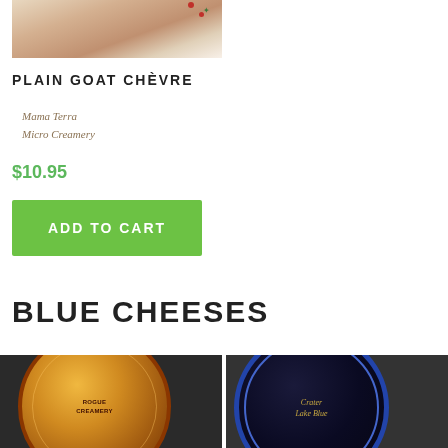[Figure (photo): Partial view of a plated food item (goat chèvre) on a white plate with pink background and red berry garnish]
PLAIN GOAT CHÈVRE
Mama Terra
Micro Creamery
$10.95
ADD TO CART
BLUE CHEESES
[Figure (photo): Top-down view of a round Rogue Creamery blue cheese wheel with orange and brown label]
[Figure (photo): Top-down view of a round Crater Lake Blue cheese wheel with dark navy label and blue rim]